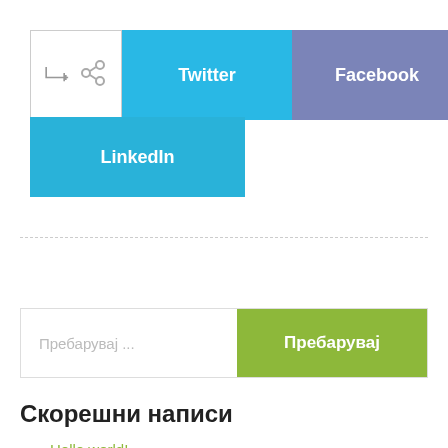[Figure (screenshot): Social share buttons row: share icon box, Twitter (blue), Facebook (purple), Google+ (red), and LinkedIn (light blue) buttons]
[Figure (screenshot): Search bar with placeholder text 'Пребарувај ...' and a green 'Пребарувај' button]
Скорешни написи
Hello world!
Services that we offers